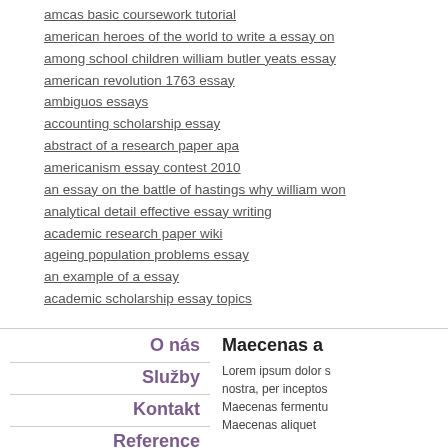amcas basic coursework tutorial
american heroes of the world to write a essay on
among school children william butler yeats essay
american revolution 1763 essay
ambiguos essays
accounting scholarship essay
abstract of a research paper apa
americanism essay contest 2010
an essay on the battle of hastings why william won
analytical detail effective essay writing
academic research paper wiki
ageing population problems essay
an example of a essay
academic scholarship essay topics
O nás
Služby
Kontakt
Reference
Maecenas a
Lorem ipsum dolor s nostra, per inceptos Maecenas fermentu Maecenas aliquet